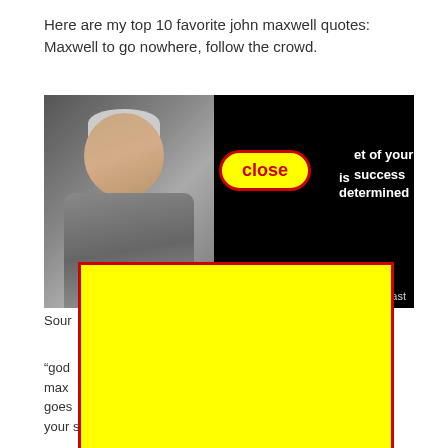Here are my top 10 favorite john maxwell quotes: Maxwell to go nowhere, follow the crowd.
[Figure (screenshot): A man in a gray suit smiling at camera with text overlay reading 'et of your success is determined' and a yellow 'close' button overlaid. A large yellow rectangle with red border covers the lower portion of the image and extends below. Partially visible text 'cast' in lower right.]
Sour
“god… jhn max… way, goes… f your success is determined by your daily agenda.”